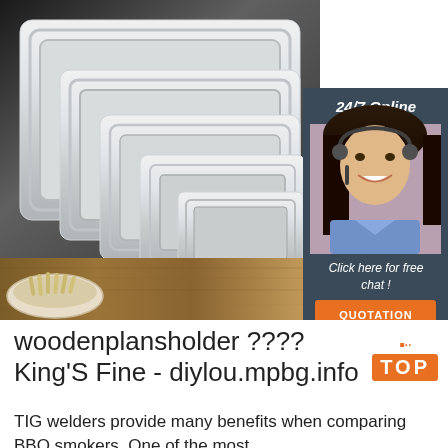[Figure (photo): Product photo showing stainless steel trays/pans arranged in a step pattern, with a bowl of food items visible in the lower left, and an overlay chat widget on the right showing '24/7 Online', a female customer service representative, 'Click here for free chat!' text, and an orange QUOTATION button.]
woodenplansholder ????King'S Fine - diylou.mpbg.info
TIG welders provide many benefits when comparing BBQ smokers. One of the most